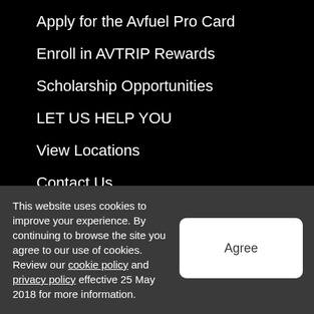Apply for the Avfuel Pro Card
Enroll in AVTRIP Rewards
Scholarship Opportunities
LET US HELP YOU
View Locations
Contact Us
TRAINING
This website uses cookies to improve your experience. By continuing to browse the site you agree to our use of cookies. Review our cookie policy and privacy policy effective 25 May 2018 for more information.